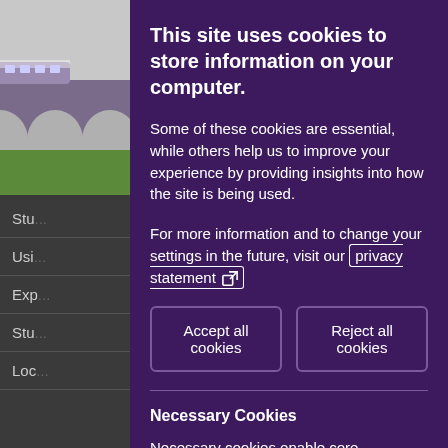[Figure (screenshot): Left sidebar showing partial website with train/viaduct image at top and navigation menu items partially visible: 'Stu', 'Usi', 'Exp', 'Stu', 'Loc']
This site uses cookies to store information on your computer.
Some of these cookies are essential, while others help us to improve your experience by providing insights into how the site is being used.
For more information and to change your settings in the future, visit our privacy statement [external link icon]
Accept all cookies
Reject all cookies
Necessary Cookies
Necessary cookies enable core functionality such as page navigation and access to secure areas.